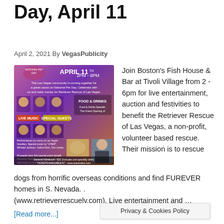Day, April 11
April 2, 2021 By VegasPublicity
[Figure (photo): Event flyer for National Pet Day, April 11th 2pm-6pm at Boston's Fish House at Tivoli Village, featuring live music, special guests, food & drinks, dogs, and performers.]
Join Boston's Fish House & Bar at Tivoli Village from 2 - 6pm for live entertainment, auction and festivities to benefit the Retriever Rescue of Las Vegas, a non-profit, volunteer based rescue. Their mission is to rescue dogs from horrific overseas conditions and find FUREVER homes in S. Nevada. . (www.retrieverrescuelv.com). Live entertainment and …
[Read more...]
Privacy & Cookies Policy